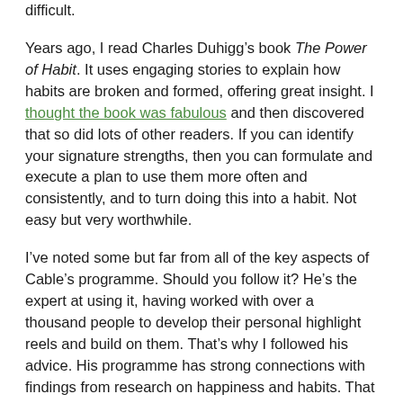difficult.
Years ago, I read Charles Duhigg’s book The Power of Habit. It uses engaging stories to explain how habits are broken and formed, offering great insight. I thought the book was fabulous and then discovered that so did lots of other readers. If you can identify your signature strengths, then you can formulate and execute a plan to use them more often and consistently, and to turn doing this into a habit. Not easy but very worthwhile.
I’ve noted some but far from all of the key aspects of Cable’s programme. Should you follow it? He’s the expert at using it, having worked with over a thousand people to develop their personal highlight reels and build on them. That’s why I followed his advice. His programme has strong connections with findings from research on happiness and habits. That gives me confidence.